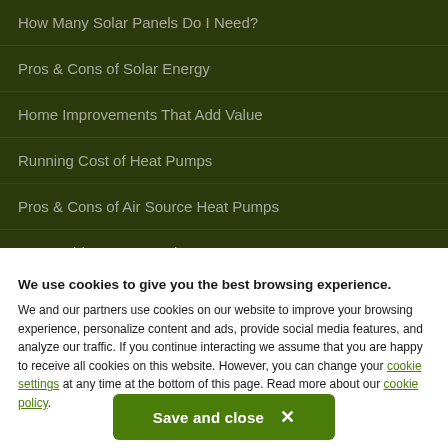How Many Solar Panels Do I Need?
Pros & Cons of Solar Energy
Home Improvements That Add Value
Running Cost of Heat Pumps
Pros & Cons of Air Source Heat Pumps
Renewable Heat Incentive
We use cookies to give you the best browsing experience. We and our partners use cookies on our website to improve your browsing experience, personalize content and ads, provide social media features, and analyze our traffic. If you continue interacting we assume that you are happy to receive all cookies on this website. However, you can change your cookie settings at any time at the bottom of this page. Read more about our cookie policy.
Save and close